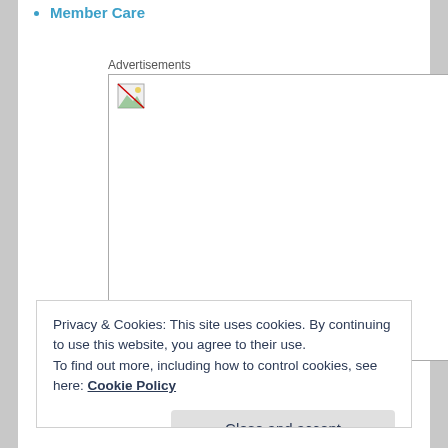Member Care
[Figure (other): Advertisement box with a broken image icon in the top-left corner. The box is outlined with a thin border and mostly empty white space.]
Privacy & Cookies: This site uses cookies. By continuing to use this website, you agree to their use.
To find out more, including how to control cookies, see here: Cookie Policy
Close and accept